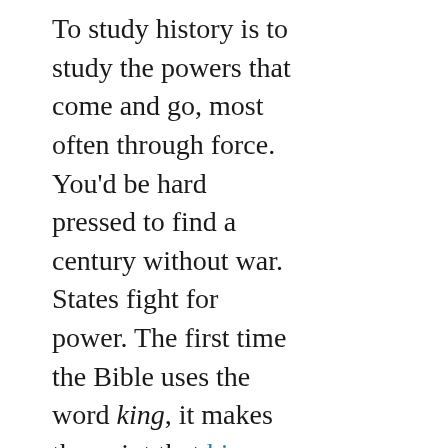To study history is to study the powers that come and go, most often through force. You'd be hard pressed to find a century without war. States fight for power. The first time the Bible uses the word king, it makes the point that kings make war (Genesis 14). That hasn't changed: in the last 100 years, we've had two world wars, and wars rage on. We'll never end violence and injustice through the current political system.
Jesus received the ultimate political offer: all the kingdoms of the world (Matthew 4:8–10). He turned it down. He refused to collude with the prince of this world. He does not receive kingship from this world's political powers (John 18:36). If ...